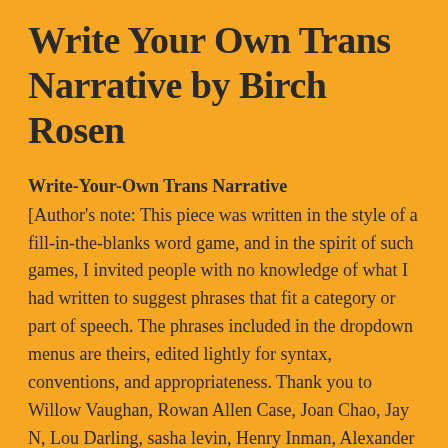Write Your Own Trans Narrative by Birch Rosen
Write-Your-Own Trans Narrative
[Author's note: This piece was written in the style of a fill-in-the-blanks word game, and in the spirit of such games, I invited people with no knowledge of what I had written to suggest phrases that fit a category or part of speech. The phrases included in the dropdown menus are theirs, edited lightly for syntax, conventions, and appropriateness. Thank you to Willow Vaughan, Rowan Allen Case, Joan Chao, Jay N, Lou Darling, sasha levin, Henry Inman, Alexander Sweetman, nico, and Tony R.